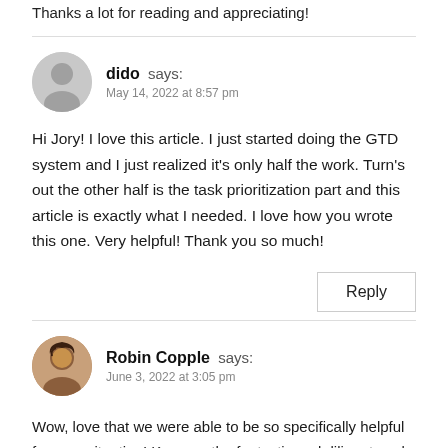Thanks a lot for reading and appreciating!
dido says:
May 14, 2022 at 8:57 pm
Hi Jory! I love this article. I just started doing the GTD system and I just realized it's only half the work. Turn's out the other half is the task prioritization part and this article is exactly what I needed. I love how you wrote this one. Very helpful! Thank you so much!
Reply
Robin Copple says:
June 3, 2022 at 3:05 pm
Wow, love that we were able to be so specifically helpful for your situation! Keep up the fantastic and diligent work on